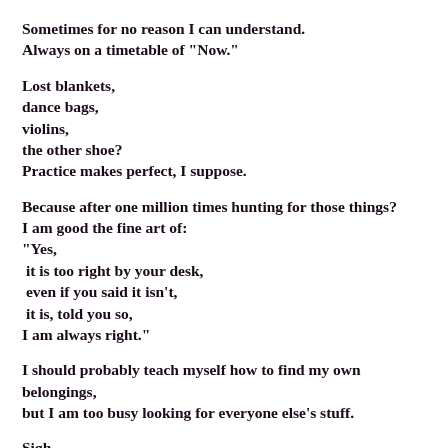Sometimes for no reason I can understand.
Always on a timetable of "Now."
Lost blankets,
dance bags,
violins,
the other shoe?
Practice makes perfect, I suppose.
Because after one million times hunting for those things?
I am good the fine art of:
"Yes,
 it is too right by your desk,
 even if you said it isn't,
 it is, told you so,
I am always right."
I should probably teach myself how to find my own belongings,
but I am too busy looking for everyone else's stuff.
Sigh.
I am saint-like, really.